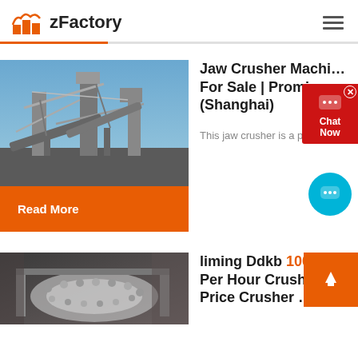zFactory
[Figure (screenshot): Industrial jaw crusher facility with conveyor belts and steel structure against blue sky]
Jaw Crusher Machine For Sale | Prominent (Shanghai)
This jaw crusher is a perfect co...
Read More
liming Ddkb 100 Ton Per Hour Crusher Price Crusher …
[Figure (photo): Heavy industrial crusher machine, close-up in industrial setting]